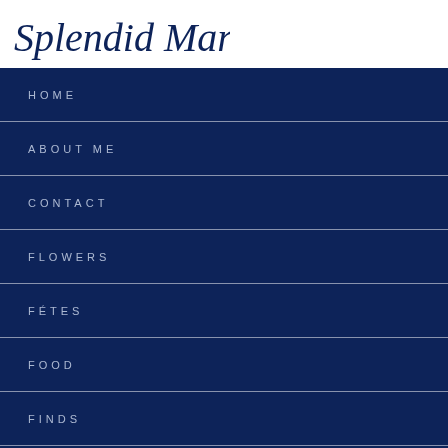Splendid Market
HOME
ABOUT ME
CONTACT
FLOWERS
FÉTES
FOOD
FINDS
FARAWAY PLACES